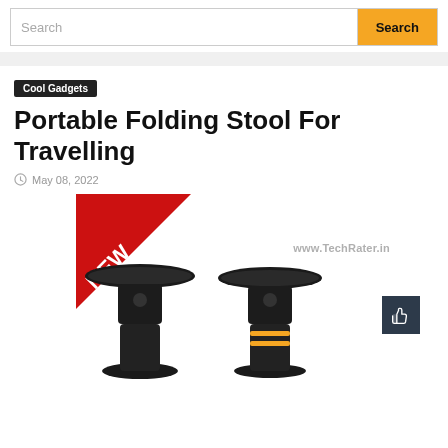Search | Search
Cool Gadgets
Portable Folding Stool For Travelling
May 08, 2022
[Figure (photo): Product photo of portable folding stool with NEW red corner badge and www.TechRater.in watermark. Two black folding stools shown at bottom.]